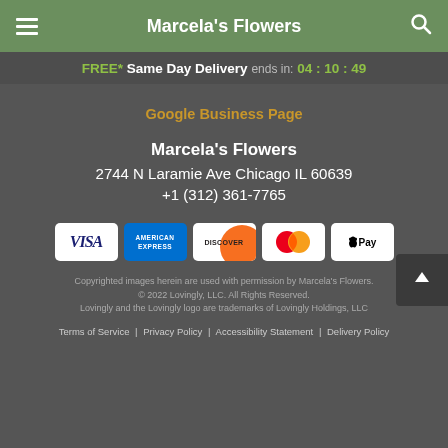Marcela's Flowers
FREE* Same Day Delivery ends in: 04 : 10 : 49
Google Business Page
Marcela's Flowers
2744 N Laramie Ave Chicago IL 60639
+1 (312) 361-7765
[Figure (logo): Payment method logos: Visa, American Express, Discover, Mastercard, Apple Pay]
Copyrighted images herein are used with permission by Marcela's Flowers.
© 2022 Lovingly, LLC. All Rights Reserved.
Lovingly and the Lovingly logo are trademarks of Lovingly Holdings, LLC
Terms of Service | Privacy Policy | Accessibility Statement | Delivery Policy